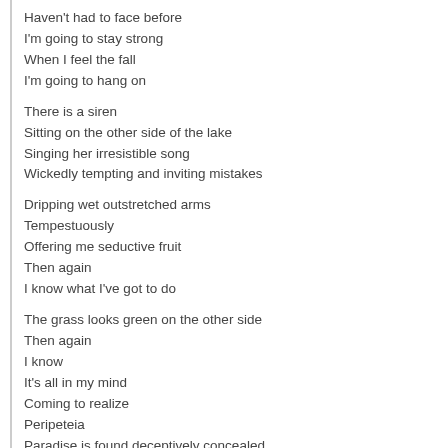Haven't had to face before
I'm going to stay strong
When I feel the fall
I'm going to hang on
There is a siren
Sitting on the other side of the lake
Singing her irresistible song
Wickedly tempting and inviting mistakes
Dripping wet outstretched arms
Tempestuously
Offering me seductive fruit
Then again
I know what I've got to do
The grass looks green on the other side
Then again
I know
It's all in my mind
Coming to realize
Peripeteia
Paradise is found deceptively concealed
Quietly masquerading
As an ordinary thing
I stumble upon
At a seemingly uneventful
Time in my life
Goodbye dagger hiding behind an insidious smile
I have fortunately broken away
From your gaze
Return to top